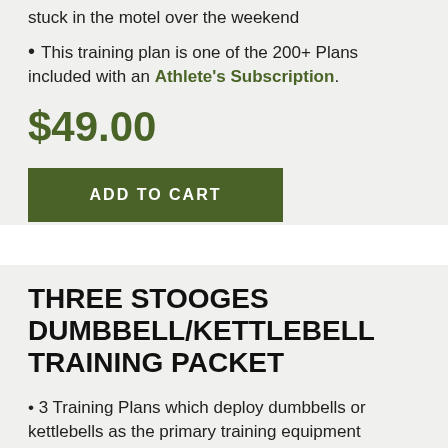stuck in the motel over the weekend
This training plan is one of the 200+ Plans included with an Athlete's Subscription.
$49.00
ADD TO CART
THREE STOOGES DUMBBELL/KETTLEBELL TRAINING PACKET
3 Training Plans which deploy dumbbells or kettlebells as the primary training equipment
Each plan concurrently trains Strength, Work Capacity, Endurance, Agility, and Chassis Integrity